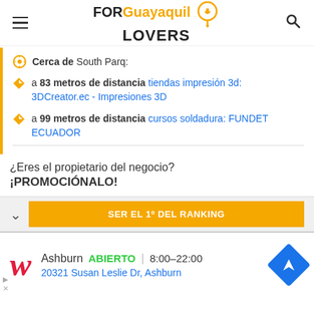FOR Guayaquil LOVERS
Cerca de South Parq:
a 83 metros de distancia tiendas impresión 3d: 3DCreator.ec - Impresiones 3D
a 99 metros de distancia cursos soldadura: FUNDET ECUADOR
¿Eres el propietario del negocio? ¡PROMOCIÓNALO!
SER EL 1º DEL RANKING
Ashburn ABIERTO | 8:00–22:00
20321 Susan Leslie Dr, Ashburn